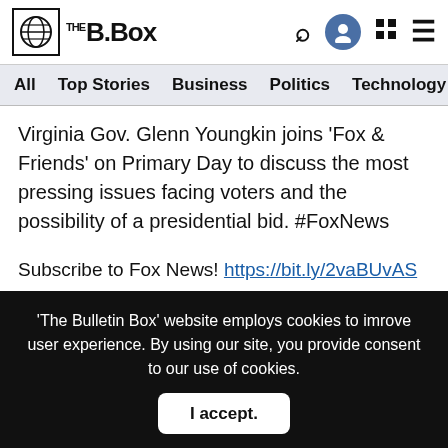THE B.Box
All  Top Stories  Business  Politics  Technology  Sports  Ente
Virginia Gov. Glenn Youngkin joins 'Fox & Friends' on Primary Day to discuss the most pressing issues facing voters and the possibility of a presidential bid. #FoxNews
Subscribe to Fox News! https://bit.ly/2vaBUvAS
Watch more Fox News Video: http://video.foxnews.com
Watch Fox News Channel Live: http://www.foxnewsgo.com/
FOX News Channel (FNC) is a 24-hour all-encompassing news service delivering breaking news as well as political and
'The Bulletin Box' website employs cookies to imrove user experience. By using our site, you provide consent to our use of cookies.
I accept.